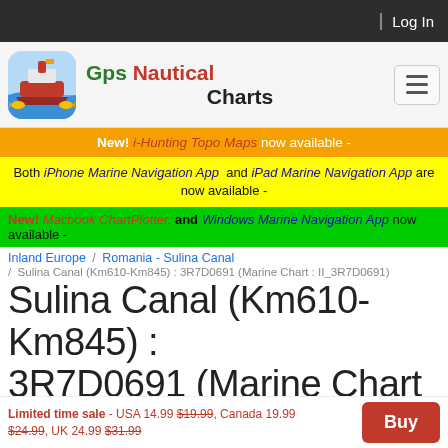Log In
[Figure (logo): GPS Nautical Charts app logo with ship icon]
Gps Nautical Charts
New! i-Hunting Topo Maps now available -
Both iPhone Marine Navigation App and iPad Marine Navigation App are now available -
New! Macbook ChartPlotter, and Windows Marine Navigation App now available -
Inland Europe / Romania - Sulina Canal / Sulina Canal (Km610-Km845) : 3R7D0691 (Marine Chart : II_3R7D0691)
Sulina Canal (Km610-Km845) : 3R7D0691 (Marine Chart :
Limited time sale - USA 14.99 $19.99, Canada 19.99 $24.99, UK 24.99 $31.99